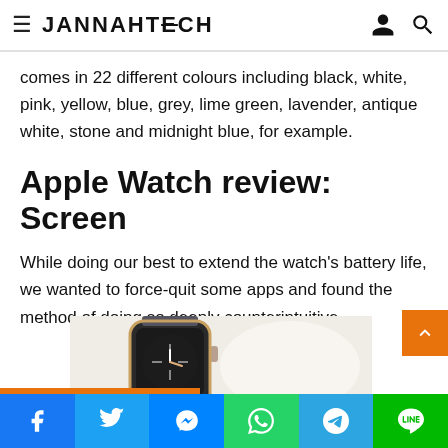≡ JANNAHTECH
comes in 22 different colours including black, white, pink, yellow, blue, grey, lime green, lavender, antique white, stone and midnight blue, for example.
Apple Watch review: Screen
While doing our best to extend the watch's battery life, we wanted to force-quit some apps and found the method of doing so deeply counterintuitive.
[Figure (photo): Close-up photo of an Apple Watch with pink/gold case and dark watch face, displayed on a light background]
Facebook | Twitter | Messenger | WhatsApp | Telegram | Line social share buttons